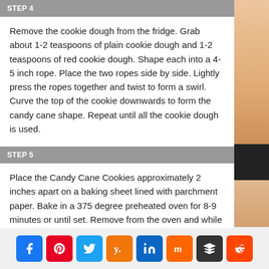STEP 4
Remove the cookie dough from the fridge. Grab about 1-2 teaspoons of plain cookie dough and 1-2 teaspoons of red cookie dough. Shape each into a 4-5 inch rope. Place the two ropes side by side. Lightly press the ropes together and twist to form a swirl. Curve the top of the cookie downwards to form the candy cane shape. Repeat until all the cookie dough is used.
STEP 5
Place the Candy Cane Cookies approximately 2 inches apart on a baking sheet lined with parchment paper. Bake in a 375 degree preheated oven for 8-9 minutes or until set. Remove from the oven and while the cookies are still warm, immediately sprinkle them with sugar. Cool on wire racks. Enjoy!
[Figure (other): Social media share buttons: Facebook, Pinterest, Twitter, Yummly, LinkedIn, Mix, Buffer, Reddit]